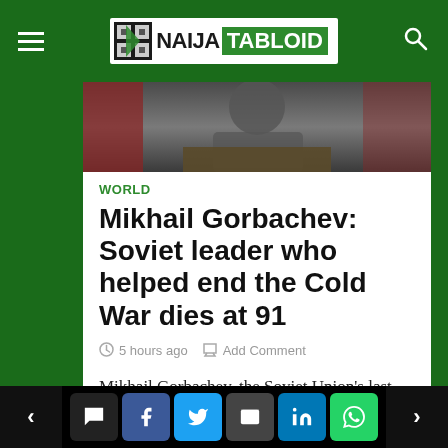NAIJA TABLOID
[Figure (photo): Photo of Mikhail Gorbachev at a podium, partial view showing upper body against red curtain background]
WORLD
Mikhail Gorbachev: Soviet leader who helped end the Cold War dies at 91
5 hours ago   Add Comment
Mikhail Gorbachev, the Soviet Union's last leader, has died aged 91. Best known for bringing about the end of the Cold War, Gorbachev waged a losing…
[Figure (photo): Partial photo at bottom of article, partially visible]
Navigation bar with share buttons: back arrow, comment, Facebook, Twitter, email, LinkedIn, WhatsApp, forward arrow